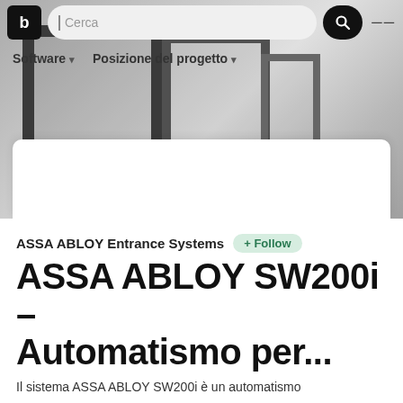[Figure (screenshot): Screenshot of a website (appears to be a BIM/construction product catalog) showing a navigation bar with logo, search field, and menu icon, a sub-navigation with 'Software' and 'Posizione del progetto' dropdowns, and a hero image of a door/entrance system in grayscale with a white card overlay at the bottom.]
ASSA ABLOY Entrance Systems
+ Follow
ASSA ABLOY SW200i – Automatismo per...
Il sistema ASSA ABLOY SW200i è un automatismo